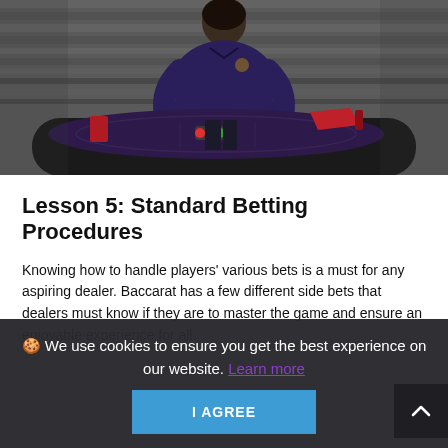[Figure (photo): A casino dealer standing behind a baccarat table in a dark room, wearing a purple uniform shirt. The table has a dark felt surface with chips and a card shoe visible.]
Lesson 5: Standard Betting Procedures
Knowing how to handle players' various bets is a must for any aspiring dealer. Baccarat has a few different side bets that dealers must know if they are to master the game and ensure an enjoyable experience for all.
🍪 We use cookies to ensure you get the best experience on our website. Learn more
I AGREE